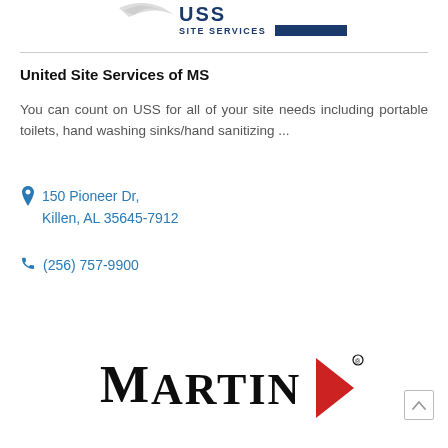[Figure (logo): United Site Services logo with text 'SITE SERVICES' and dark blue bar]
United Site Services of MS
You can count on USS for all of your site needs including portable toilets, hand washing sinks/hand sanitizing...
150 Pioneer Dr, Killen, AL 35645-7912
(256) 757-9900
[Figure (logo): Martin logo with bold serif text 'MARTIN' and a red triangle arrow pointing right]